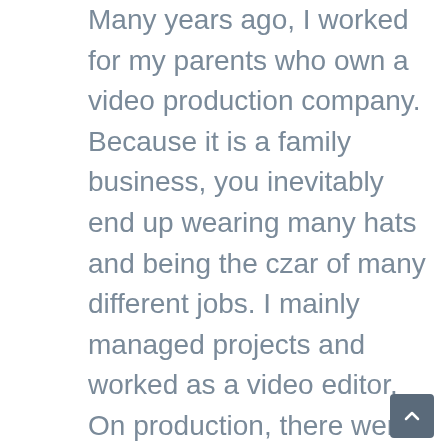Many years ago, I worked for my parents who own a video production company. Because it is a family business, you inevitably end up wearing many hats and being the czar of many different jobs. I mainly managed projects and worked as a video editor. On production, there were times that I was called on to work as an audio tech and was made to wear headphones on long production days. In those days, having a really good set of headphones that picked up every nuance of sound was essential to making sure the client got what they needed. Many years ago, I worked for my parents who own a video production company. Because it is a family business, you inevitably end up wearing many hats and being the czar of many different jobs. I mainly managed projects and worked as a video editor. On production, there were times that I was called on to work as an audio